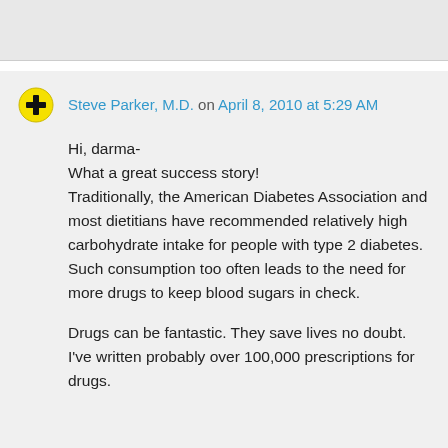Steve Parker, M.D. on April 8, 2010 at 5:29 AM

Hi, darma-
What a great success story!
Traditionally, the American Diabetes Association and most dietitians have recommended relatively high carbohydrate intake for people with type 2 diabetes. Such consumption too often leads to the need for more drugs to keep blood sugars in check.

Drugs can be fantastic. They save lives no doubt. I've written probably over 100,000 prescriptions for drugs.